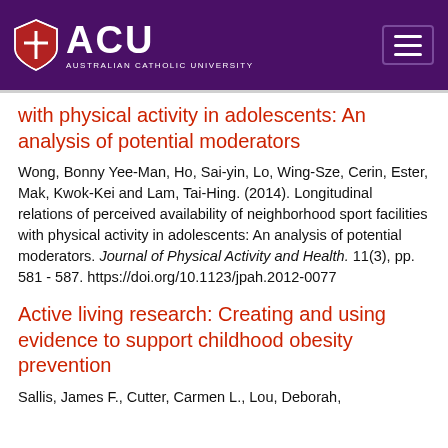[Figure (logo): Australian Catholic University (ACU) logo with shield icon and institution name on dark purple header bar with hamburger menu button]
with physical activity in adolescents: An analysis of potential moderators
Wong, Bonny Yee-Man, Ho, Sai-yin, Lo, Wing-Sze, Cerin, Ester, Mak, Kwok-Kei and Lam, Tai-Hing. (2014). Longitudinal relations of perceived availability of neighborhood sport facilities with physical activity in adolescents: An analysis of potential moderators. Journal of Physical Activity and Health. 11(3), pp. 581 - 587. https://doi.org/10.1123/jpah.2012-0077
Active living research: Creating and using evidence to support childhood obesity prevention
Sallis, James F., Cutter, Carmen L., Lou, Deborah,